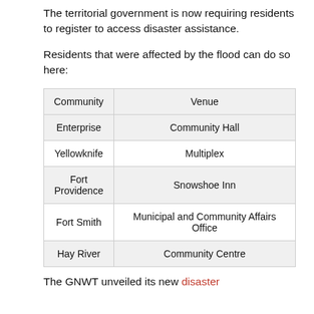The territorial government is now requiring residents to register to access disaster assistance.
Residents that were affected by the flood can do so here:
| Community | Venue |
| --- | --- |
| Enterprise | Community Hall |
| Yellowknife | Multiplex |
| Fort Providence | Snowshoe Inn |
| Fort Smith | Municipal and Community Affairs Office |
| Hay River | Community Centre |
The GNWT unveiled its new disaster